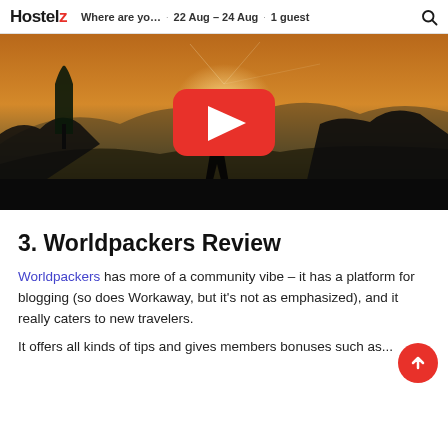Hostelz · Where are yo… · 22 Aug - 24 Aug · 1 guest
[Figure (screenshot): YouTube video thumbnail showing a silhouette of a person standing on a rocky mountain overlook at sunset/golden hour, with trees and hazy mountains in the background. A red YouTube play button is centered on the image.]
3. Worldpackers Review
Worldpackers has more of a community vibe - it has a platform for blogging (so does Workaway, but it's not as emphasized), and it really caters to new travelers.
It offers all kinds of tips and gives members bonuses such as...